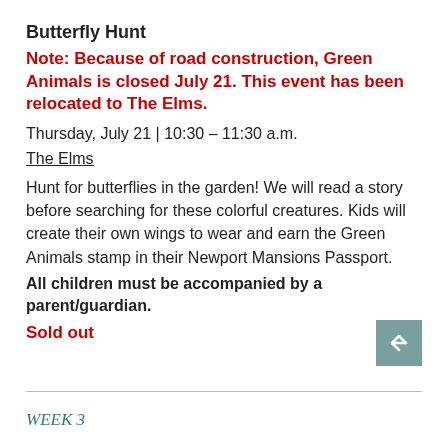Butterfly Hunt
Note: Because of road construction, Green Animals is closed July 21. This event has been relocated to The Elms.
Thursday, July 21  |  10:30 – 11:30 a.m.
The Elms
Hunt for butterflies in the garden! We will read a story before searching for these colorful creatures. Kids will create their own wings to wear and earn the Green Animals stamp in their Newport Mansions Passport. All children must be accompanied by a parent/guardian.
Sold out
WEEK 3